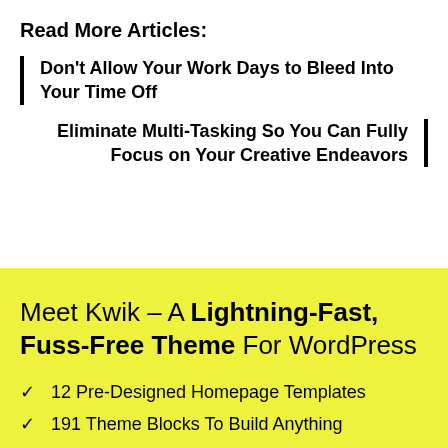Read More Articles:
Don't Allow Your Work Days to Bleed Into Your Time Off
Eliminate Multi-Tasking So You Can Fully Focus on Your Creative Endeavors
Meet Kwik – A Lightning-Fast, Fuss-Free Theme For WordPress
12 Pre-Designed Homepage Templates
191 Theme Blocks To Build Anything